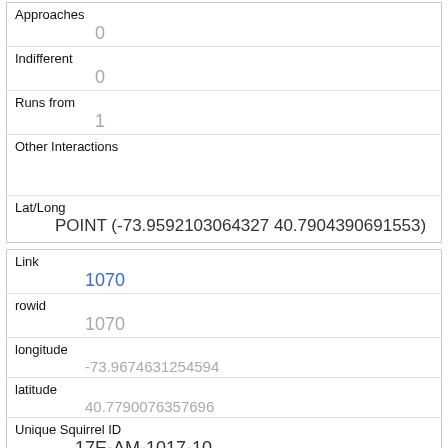| Approaches | 0 |
| Indifferent | 0 |
| Runs from | 1 |
| Other Interactions |  |
| Lat/Long | POINT (-73.9592103064327 40.7904390691553) |
| Link | 1070 |
| rowid | 1070 |
| longitude | -73.9674631254594 |
| latitude | 40.7790076357696 |
| Unique Squirrel ID | 17E-AM-1017-10 |